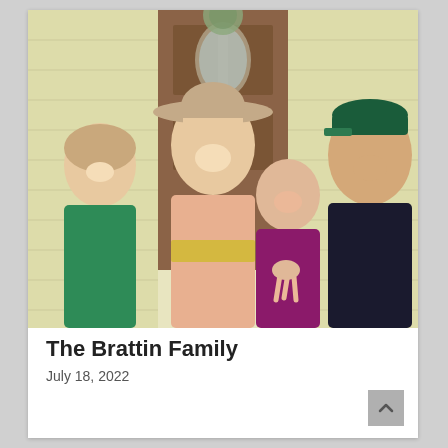[Figure (photo): Family photo of four people posing in front of a house door. A woman wearing a wide-brim tan hat and peach ribbed sweater in the center, a man in a dark shirt and green baseball cap on the right, a young girl in a green turtleneck on the left, and a younger girl in a purple shirt making a peace sign in front.]
The Brattin Family
July 18, 2022